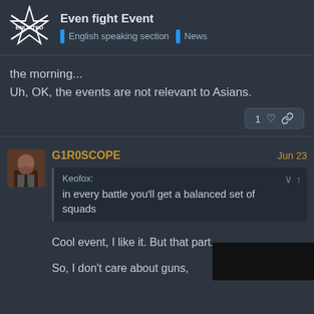Even fight Event | English speaking section | News
the morning...
Uh, OK, the events are not relevant to Asians.
1 ♡ 🔗
G1R0SCOPE   Jun 23
Keofox:
in every battle you'll get a balanced set of squads
Cool event, I like it. But that part...
So, I don't care about guns,